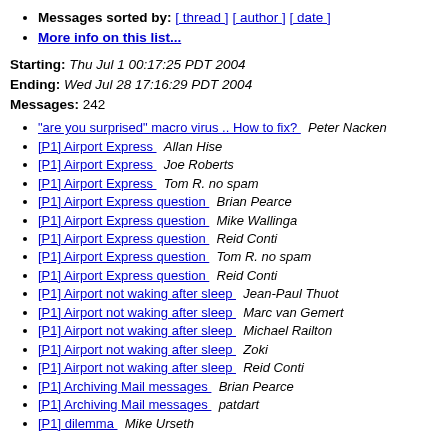Messages sorted by: [ thread ] [ author ] [ date ]
More info on this list...
Starting: Thu Jul 1 00:17:25 PDT 2004
Ending: Wed Jul 28 17:16:29 PDT 2004
Messages: 242
"are you surprised" macro virus .. How to fix?   Peter Nacken
[P1] Airport Express   Allan Hise
[P1] Airport Express   Joe Roberts
[P1] Airport Express   Tom R. no spam
[P1] Airport Express question   Brian Pearce
[P1] Airport Express question   Mike Wallinga
[P1] Airport Express question   Reid Conti
[P1] Airport Express question   Tom R. no spam
[P1] Airport Express question   Reid Conti
[P1] Airport not waking after sleep   Jean-Paul Thuot
[P1] Airport not waking after sleep   Marc van Gemert
[P1] Airport not waking after sleep   Michael Railton
[P1] Airport not waking after sleep   Zoki
[P1] Airport not waking after sleep   Reid Conti
[P1] Archiving Mail messages   Brian Pearce
[P1] Archiving Mail messages   patdart
[P1] dilemma   Mike Urseth